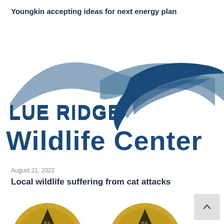Youngkin accepting ideas for next energy plan
[Figure (logo): Blue Ridge Wildlife Center logo with mountain arc shapes and stylized bird/wing graphic in blue and steel-blue colors, with text 'BLUE RIDGE' and 'Wildlife Center']
August 21, 2022
Local wildlife suffering from cat attacks
[Figure (photo): Partial bottom crop of circular seal/badge images in gold and black, two visible at left-center and one at right edge]